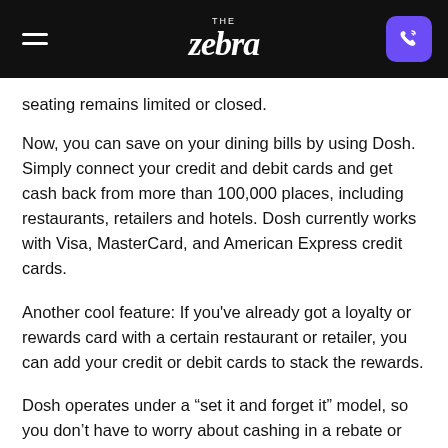THE zebra
seating remains limited or closed.
Now, you can save on your dining bills by using Dosh. Simply connect your credit and debit cards and get cash back from more than 100,000 places, including restaurants, retailers and hotels. Dosh currently works with Visa, MasterCard, and American Express credit cards.
Another cool feature: If you've already got a loyalty or rewards card with a certain restaurant or retailer, you can add your credit or debit cards to stack the rewards.
Dosh operates under a “set it and forget it” model, so you don’t have to worry about cashing in a rebate or sending a photo of your receipt — you’ll just let the passive income